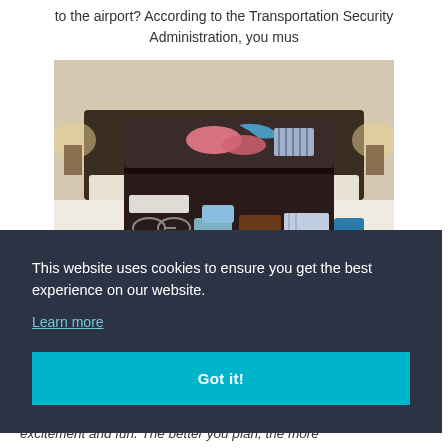to the airport? According to the Transportation Security Administration, you mus
[Figure (photo): An open suitcase on a bed, packed with clothes, flip flops, toiletries, and travel items. Bedside lamps visible in background.]
This website uses cookies to ensure you get the best experience on our website. Learn more  Got it!
different cultures, and trying various cuisines is always full of excitement and fun. The better you plan, the more